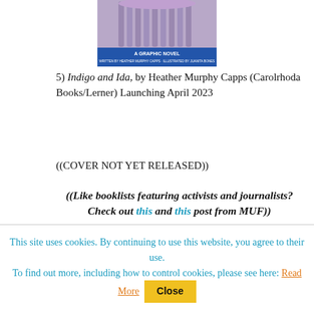[Figure (photo): Book cover image for 'Indigo and Ida' graphic novel, showing a purple throne-like chair with blue banner text reading 'A GRAPHIC NOVEL']
5) Indigo and Ida, by Heather Murphy Capps (Carolrhoda Books/Lerner) Launching April 2023
((COVER NOT YET RELEASED))
((Like booklists featuring activists and journalists? Check out this and this post from MUF))
This site uses cookies. By continuing to use this website, you agree to their use.
To find out more, including how to control cookies, please see here: Read More  Close